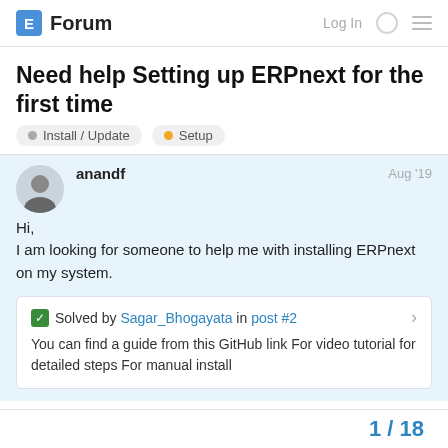E Forum   Log In
Need help Setting up ERPnext for the first time
Install / Update   Setup
anandf   Aug '19
Hi,
I am looking for someone to help me with installing ERPnext on my system.
✓ Solved by Sagar_Bhogayata in post #2
You can find a guide from this GitHub link For video tutorial for detailed steps For manual install
1 / 18